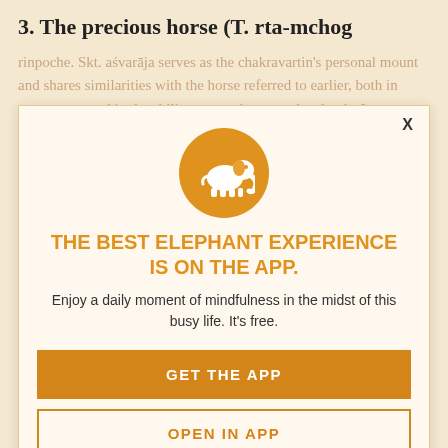3. The precious horse (T. rta-mchog
rinpoche. Skt. aśvarājaserves as the chakravartin's personal mount and shares similarities with the horse referred to earlier, both in appearance and in the ability to travel among the clouds. Its qualities mirror the Buddha's own authority. It out of his greatness you are a minority. existence.
[Figure (logo): White elephant silhouette on orange circle background - app icon]
X
THE BEST ELEPHANT EXPERIENCE IS ON THE APP.
Enjoy a daily moment of mindfulness in the midst of this busy life. It's free.
GET THE APP
OPEN IN APP